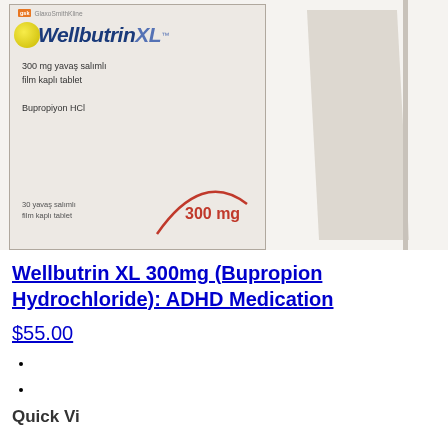[Figure (photo): Wellbutrin XL 300mg medication box by GlaxoSmithKline showing product name, 300 mg yavaş salımlı film kaplı tablet, Bupropiyon HCl, 30 yavaş salımlı film kaplı tablet, with a red arc and 300 mg label at the bottom]
Wellbutrin XL 300mg (Bupropion Hydrochloride): ADHD Medication
$55.00
Quick View